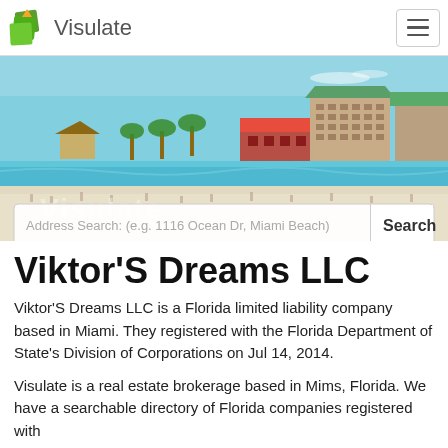Visulate
[Figure (photo): Beach scene with white sand, turquoise water, people on the beach, and buildings including a hotel in the background. Blue sky. A watermark reads 'Visulate'. A search bar overlays the bottom of the image with placeholder text 'Address Search: (e.g. 1116 Ocean Dr, Miami Beach)' and a 'Search' button.]
Viktor'S Dreams LLC
Viktor'S Dreams LLC is a Florida limited liability company based in Miami. They registered with the Florida Department of State's Division of Corporations on Jul 14, 2014.
Visulate is a real estate brokerage based in Mims, Florida. We have a searchable directory of Florida companies registered with ...